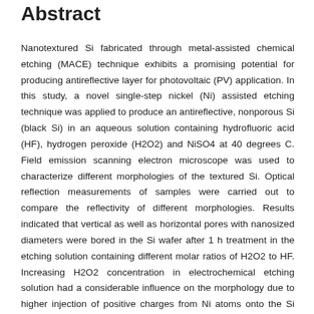Abstract
Nanotextured Si fabricated through metal-assisted chemical etching (MACE) technique exhibits a promising potential for producing antireflective layer for photovoltaic (PV) application. In this study, a novel single-step nickel (Ni) assisted etching technique was applied to produce an antireflective, nonporous Si (black Si) in an aqueous solution containing hydrofluoric acid (HF), hydrogen peroxide (H2O2) and NiSO4 at 40 degrees C. Field emission scanning electron microscope was used to characterize different morphologies of the textured Si. Optical reflection measurements of samples were carried out to compare the reflectivity of different morphologies. Results indicated that vertical as well as horizontal pores with nanosized diameters were bored in the Si wafer after 1 h treatment in the etching solution containing different molar ratios of H2O2 to HF. Increasing H2O2 concentration in electrochemical etching solution had a considerable influence on the morphology due to higher injection of positive charges from Ni atoms onto the Si surface. Optimized concentration of H2O2 led to formation of an antireflective layer with 2.1% reflectance of incident light.